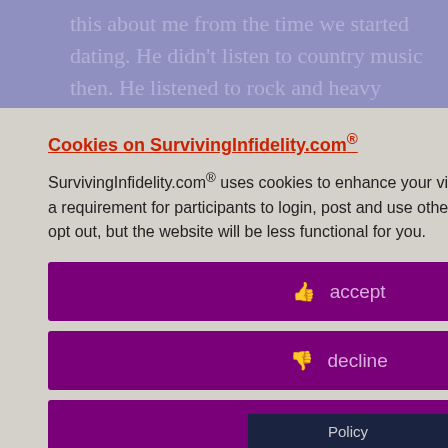this about me from the time we started dating. He didn't listen to country music then. He listened to rock and heavy metal. I'm not a fan of heavy metal, ...untry. ...response was ...music (rock), ...is new. He ...ted like he ...and the ...ng new, he ...for tat thing ...g. Whenever I ..., he ..." Rather than ...e kept arguing
Cookies on SurvivingInfidelity.com®
SurvivingInfidelity.com® uses cookies to enhance your visit to our website. This is a requirement for participants to login, post and use other features. Visitors may opt out, but the website will be less functional for you.
👍 accept
👎 decline
🍪 about cookies
Policy